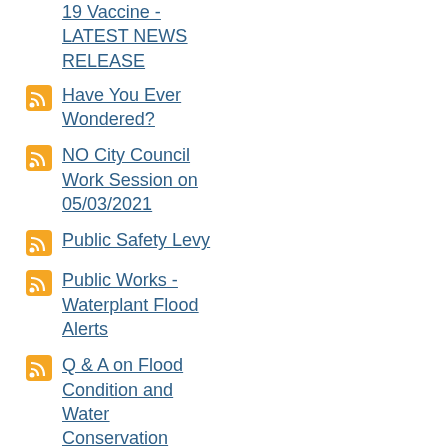19 Vaccine - LATEST NEWS RELEASE
Have You Ever Wondered?
NO City Council Work Session on 05/03/2021
Public Safety Levy
Public Works - Waterplant Flood Alerts
Q & A on Flood Condition and Water Conservation
Safe Routes to School
Storm Drains
WATER USE RESTRICTIONS